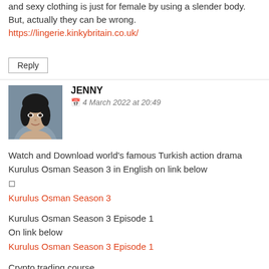and sexy clothing is just for female by using a slender body. But, actually they can be wrong.
https://lingerie.kinkybritain.co.uk/
Reply
JENNY
4 March 2022 at 20:49
Watch and Download world's famous Turkish action drama Kurulus Osman Season 3 in English on link below
🔗
Kurulus Osman Season 3
Kurulus Osman Season 3 Episode 1
On link below
Kurulus Osman Season 3 Episode 1
Crypto trading course
🔗
Crypto quantum leap
YouTube course
Be a professional YouTuber and start your carrier
Tube Mastery and Monetization by matt